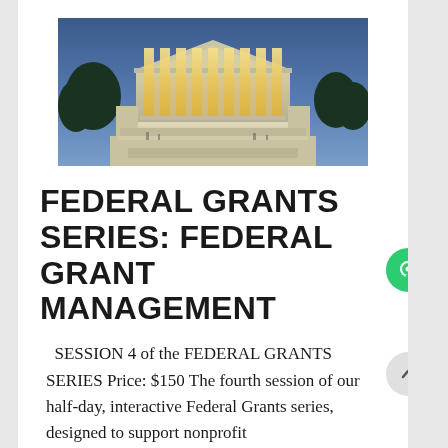[Figure (photo): Photograph of a neoclassical government building (US Supreme Court or similar) illuminated at dusk/night with blue sky background and lit columns]
FEDERAL GRANTS SERIES: FEDERAL GRANT MANAGEMENT
SESSION 4 of the FEDERAL GRANTS SERIES Price: $150 The fourth session of our half-day, interactive Federal Grants series, designed to support nonprofit